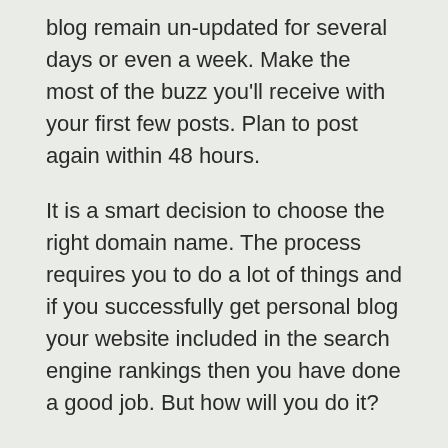blog remain un-updated for several days or even a week. Make the most of the buzz you'll receive with your first few posts. Plan to post again within 48 hours.
It is a smart decision to choose the right domain name. The process requires you to do a lot of things and if you successfully get personal blog your website included in the search engine rankings then you have done a good job. But how will you do it?
Who is a bad guy? Many of us would ask. Its ironic to think enough of our young men would be excited to imagine this label attached to their social profile. A bad guy is a heart breaker who poses as a good caring man while he does not have good intentions for you at heart. These are the kind of dudes who will